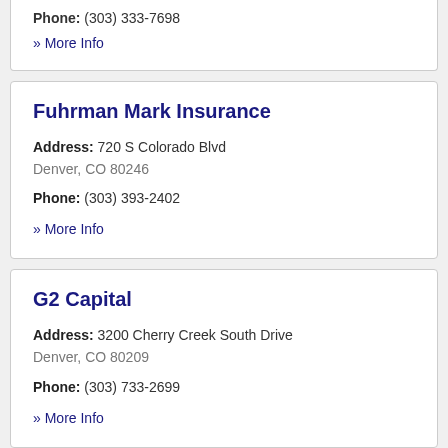Phone: (303) 333-7698
» More Info
Fuhrman Mark Insurance
Address: 720 S Colorado Blvd Denver, CO 80246
Phone: (303) 393-2402
» More Info
G2 Capital
Address: 3200 Cherry Creek South Drive Denver, CO 80209
Phone: (303) 733-2699
» More Info